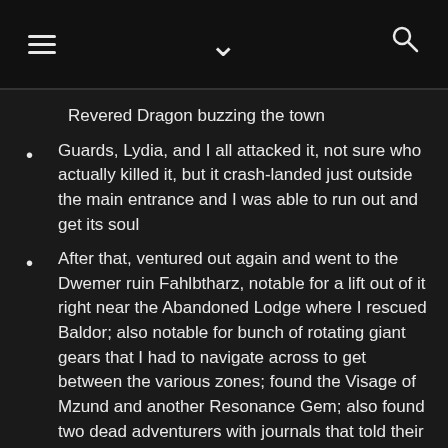[hamburger menu] [chevron down] [search icon]
Revered Dragon buzzing the town
Guards, Lydia, and I all attacked it, not sure who actually killed it, but it crash-landed just outside the main entrance and I was able to run out and get its soul
After that, ventured out again and went to the Dwemer ruin Fahlbtharz, notable for a lift out of it right near the Abandoned Lodge where I rescued Baldor; also notable for bunch of rotating giant gears that I had to navigate across to get between the various zones; found the Visage of Mzund and another Resonance Gem; also found two dead adventurers with journals that told their story
This time, when I boinged back to Raven Rock, the courier caught up with me and relayed that I needed to go talk to Ralis; I paused doing that until I had a chance to visit Glover Mallory's forge and smelt all the dwarven